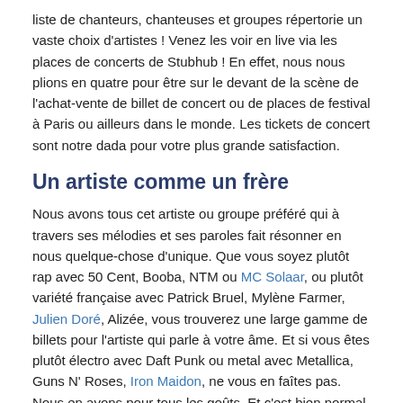liste de chanteurs, chanteuses et groupes répertorie un vaste choix d'artistes ! Venez les voir en live via les places de concerts de Stubhub ! En effet, nous nous plions en quatre pour être sur le devant de la scène de l'achat-vente de billet de concert ou de places de festival à Paris ou ailleurs dans le monde. Les tickets de concert sont notre dada pour votre plus grande satisfaction.
Un artiste comme un frère
Nous avons tous cet artiste ou groupe préféré qui à travers ses mélodies et ses paroles fait résonner en nous quelque-chose d'unique. Que vous soyez plutôt rap avec 50 Cent, Booba, NTM ou MC Solaar, ou plutôt variété française avec Patrick Bruel, Mylène Farmer, Julien Doré, Alizée, vous trouverez une large gamme de billets pour l'artiste qui parle à votre âme. Et si vous êtes plutôt électro avec Daft Punk ou metal avec Metallica, Guns N' Roses, Iron Maidon, ne vous en faîtes pas. Nous en avons pour tous les goûts. Et c'est bien normal puisque notre but et avant tout de vous satisfaire en vous permettant d'acheter vos billets de concert et de vendre les places de vos artistes préférés sur une même plateforme, 100% sécurisée et facile d'accès.
Pourquoi choisir un seul artiste ?